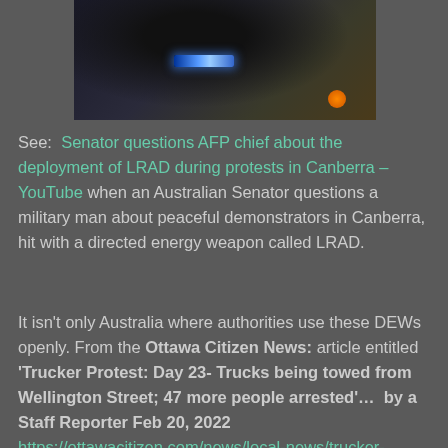[Figure (photo): Dark photograph showing what appears to be a police or military vehicle with a blue light bar visible, with orange accent visible at bottom right.]
See: Senator questions AFP chief about the deployment of LRAD during protests in Canberra – YouTube when an Australian Senator questions a military man about peaceful demonstrators in Canberra, hit with a directed energy weapon called LRAD.
It isn't only Australia where authorities use these DEWs openly. From the Ottawa Citizen News: article entitled 'Trucker Protest: Day 23- Trucks being towed from Wellington Street; 47 more people arrested'... by a Staff Reporter Feb 20, 2022 https://ottawacitizen.com/news/local-news/trucker-protest-day-23-two-convoy-organizers-await-bail-hearing-as-police-will-start-removing-trucks